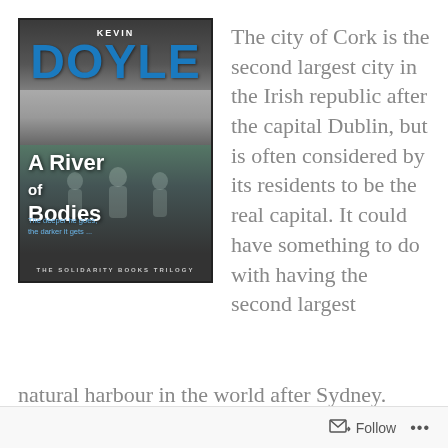[Figure (illustration): Book cover of 'A River of Bodies' by Kevin Doyle. Dark atmospheric cover showing a large building in background, a river in the foreground with three ghostly silhouettes standing in the water. Author name 'KEVIN DOYLE' at top with large blue bold text 'DOYLE'. Title 'A River of Bodies' in large white bold text. Tagline: 'The deeper he goes, the darker it gets...' Series: 'THE SOLIDARITY BOOKS TRILOGY']
The city of Cork is the second largest city in the Irish republic after the capital Dublin, but is often considered by its residents to be the real capital. It could have something to do with having the second largest natural harbour in the world after Sydney.
Follow ...